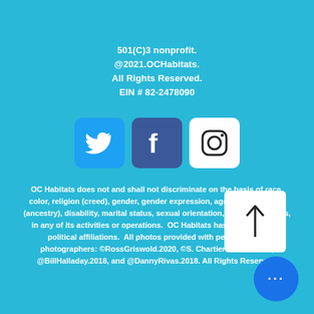501(C)3 nonprofit.
@2021.OCHabitats.
All Rights Reserved.
EIN # 82-2478090
[Figure (logo): Three social media icons: Twitter (blue bird), Facebook (dark blue f), Instagram (white camera circle)]
OC Habitats does not and shall not discriminate on the basis of race, color, religion (creed), gender, gender expression, age, national origin (ancestry), disability, marital status, sexual orientation, or military status, in any of its activities or operations.  OC Habitats has no religious or political affiliations.  All photos provided with permission of photographers: ©RossGriswold.2020, ©S. Chartier-Grable.2020, @BillHalladay.2018, and @DannyRivas.2018. All Rights Reserved.
[Figure (other): Back to top button: white square with upward arrow icon]
[Figure (other): More options button: blue circle with three white dots]